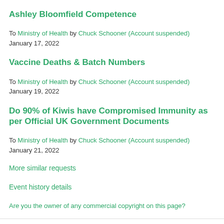Ashley Bloomfield Competence
To Ministry of Health by Chuck Schooner (Account suspended)
January 17, 2022
Vaccine Deaths & Batch Numbers
To Ministry of Health by Chuck Schooner (Account suspended)
January 19, 2022
Do 90% of Kiwis have Compromised Immunity as per Official UK Government Documents
To Ministry of Health by Chuck Schooner (Account suspended)
January 21, 2022
More similar requests
Event history details
Are you the owner of any commercial copyright on this page?